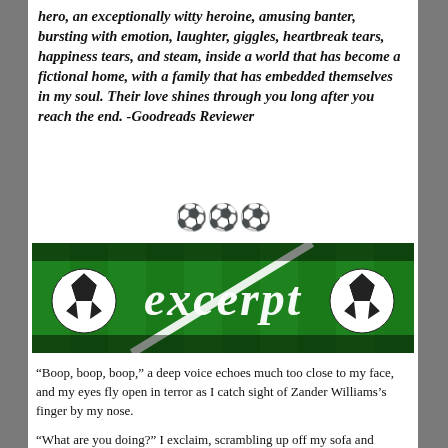hero, an exceptionally witty heroine, amusing banter, bursting with emotion, laughter, giggles, heartbreak tears, happiness tears, and steam, inside a world that has become a fictional home, with a family that has embedded themselves in my soul. Their love shines through you long after you reach the end. -Goodreads Reviewer
[Figure (illustration): Three soccer ball emojis used as a decorative divider]
[Figure (photo): Banner image showing a green soccer field with the word 'excerpt' in white cursive script, flanked by two soccer balls on either side]
“Boop, boop, boop,” a deep voice echoes much too close to my face, and my eyes fly open in terror as I catch sight of Zander Williams’s finger by my nose.
“What are you doing?” I exclaim, scrambling up off my sofa and standing behind the arm of it to put some space between us. I hold my chunky blanket out in front of me like it’s